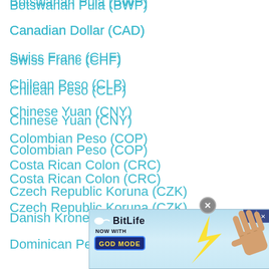Botswanan Pula (BWP)
Canadian Dollar (CAD)
Swiss Franc (CHF)
Chilean Peso (CLP)
Chinese Yuan (CNY)
Colombian Peso (COP)
Costa Rican Colon (CRC)
Czech Republic Koruna (CZK)
Danish Krone (DKK)
Dominican Peso (DOP)
Algerian Dinar (DZD)
Eston...
Egypt...
[Figure (screenshot): BitLife advertisement banner - 'NOW WITH GOD MODE' promotional ad with hand pointing graphic]